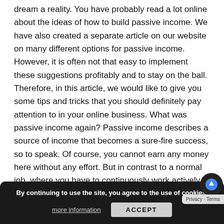dream a reality. You have probably read a lot online about the ideas of how to build passive income. We have also created a separate article on our website on many different options for passive income. However, it is often not that easy to implement these suggestions profitably and to stay on the ball. Therefore, in this article, we would like to give you some tips and tricks that you should definitely pay attention to in your online business. What was passive income again? Passive income describes a source of income that becomes a sure-fire success, so to speak. Of course, you cannot earn any money here without any effort. But in contrast to a normal job, where you have to continuously work actively for your wages, with...
By continuing to use the site, you agree to the use of cookies.
more information
ACCEPT
KEEP READING
Privacy · Terms